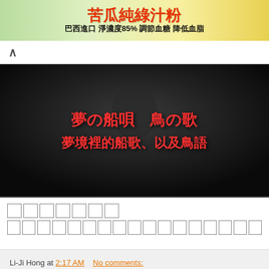[Figure (infographic): Advertisement banner with orange/red Chinese text and yellow-green background: 苦瓜純綠汁粉, 巴西進口 淨濃度85% 調節血糖 降低血脂]
[Figure (screenshot): Video thumbnail with dark background and a figure, overlaid with red Chinese/Japanese text: 夢の船唄 鳥の歌 / 夢境裡的船歌、以及鳥語]
□□□□□□□
□□□□□□□□□□□□□□□□□□□
Li-Ji Hong at 2:17 AM    No comments:
Similar(□□□□): Jukebox, KTV, Lyrics
Share
Saturday, March 23, 2019
□□□□□□□□□□□□